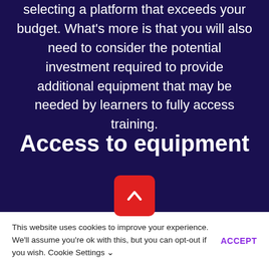selecting a platform that exceeds your budget. What's more is that you will also need to consider the potential investment required to provide additional equipment that may be needed by learners to fully access training.
Access to equipment
This website uses cookies to improve your experience. We'll assume you're ok with this, but you can opt-out if you wish. Cookie Settings